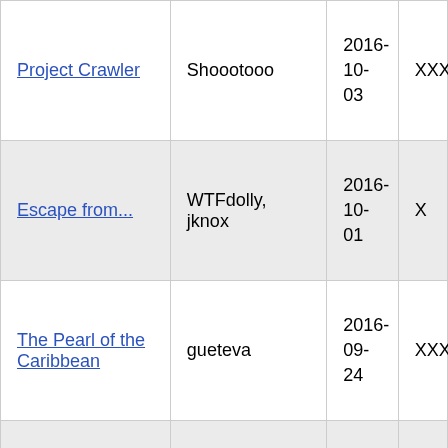| Title | Author | Date | Status |
| --- | --- | --- | --- |
| Project Crawler | Shoootooo | 2016-10-03 | XXX |
| Escape from... | WTFdolly, jknox | 2016-10-01 | X |
| The Pearl of the Caribbean | gueteva | 2016-09-24 | XXX |
|  |  |  |  |